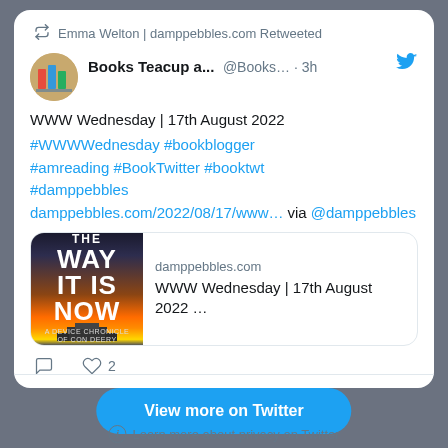Emma Welton | damppebbles.com Retweeted
Books Teacup a... @Books... · 3h
WWW Wednesday | 17th August 2022 #WWWWednesday #bookblogger #amreading #BookTwitter #booktwt #damppebbles damppebbles.com/2022/08/17/www... via @damppebbles
[Figure (screenshot): Link preview card showing book cover 'THE WAY IT IS NOW' with text: damppebbles.com / WWW Wednesday | 17th August 2022 ...]
♡ 2
View more on Twitter
Learn more about privacy on Twitter